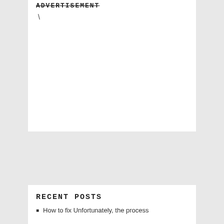ADVERTISEMENT
\
RECENT POSTS
How to fix Unfortunately, the process